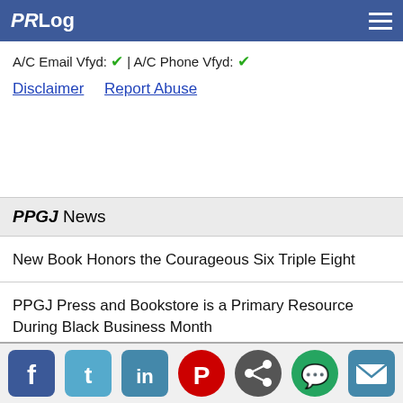PRLog
A/C Email Vfyd: ✔ | A/C Phone Vfyd: ✔
Disclaimer   Report Abuse
PPGJ News
New Book Honors the Courageous Six Triple Eight
PPGJ Press and Bookstore is a Primary Resource During Black Business Month
Celebrating Black Business Month By Supporting MN Black-Owned Bookstore
[Figure (infographic): Social media share icons: Facebook, Twitter, LinkedIn, Pinterest, Share, WhatsApp, Email]